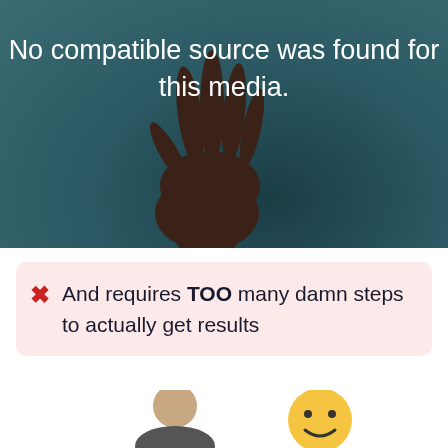[Figure (photo): Dark teal/green background with a raised hand (palm facing viewer, fingers up) silhouette in the center-lower portion. White text overlay reads 'No compatible source was found for this media.' — a video player error state.]
And requires TOO many damn steps to actually get results
[Figure (photo): Bottom strip showing partial figures: a person's head/shoulders on the left and a yellow emoji face on the right, both partially cropped.]